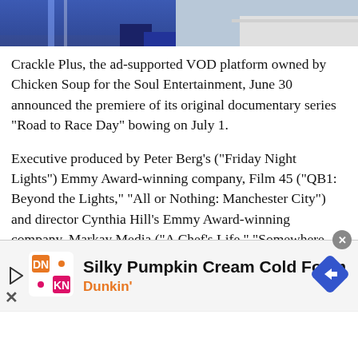[Figure (photo): Top portion of a person in blue racing/sports attire, cropped photo strip]
Crackle Plus, the ad-supported VOD platform owned by Chicken Soup for the Soul Entertainment, June 30 announced the premiere of its original documentary series “Road to Race Day” bowing on July 1.
Executive produced by Peter Berg’s (“Friday Night Lights”) Emmy Award-winning company, Film 45 (“QB1: Beyond the Lights,” “All or Nothing: Manchester City”) and director Cynthia Hill’s Emmy Award-winning company, Markay Media (“A Chef’s Life,” “Somewhere South”) for Complex Networks, the eight-episode series showcases the 2017 season of NASCAR’s Hendrick Motorsports, and features
[Figure (infographic): Dunkin' advertisement banner: Play button icon, DN KN orange/pink logo, 'Silky Pumpkin Cream Cold Foam' text, 'Dunkin'' subtitle, blue diamond navigation arrow icon, close X button]